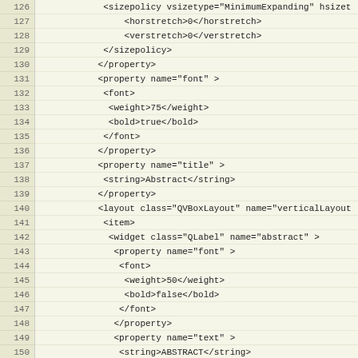[Figure (screenshot): Code editor showing XML/Qt UI file lines 126-155 with line numbers on the left (beige background) and code content on the right (light yellow-green background). The code defines Qt widget properties including sizepolicy, font, title, layout, and widget configurations.]